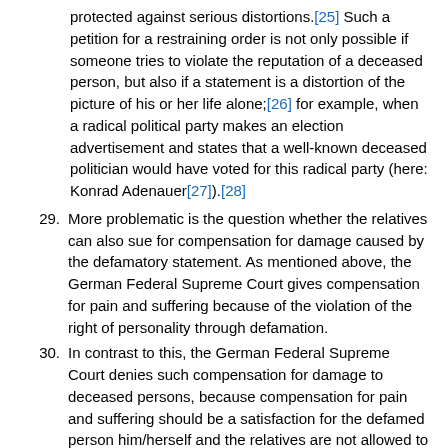protected against serious distortions.[25] Such a petition for a restraining order is not only possible if someone tries to violate the reputation of a deceased person, but also if a statement is a distortion of the picture of his or her life alone;[26] for example, when a radical political party makes an election advertisement and states that a well-known deceased politician would have voted for this radical party (here: Konrad Adenauer[27]).[28]
29. More problematic is the question whether the relatives can also sue for compensation for damage caused by the defamatory statement. As mentioned above, the German Federal Supreme Court gives compensation for pain and suffering because of the violation of the right of personality through defamation.
30. In contrast to this, the German Federal Supreme Court denies such compensation for damage to deceased persons, because compensation for pain and suffering should be a satisfaction for the defamed person him/herself and the relatives are not allowed to demand such compensation.[29] Such compensation could not serve the purpose of compensation for suffered harm because the relatives have not suffered any harm.
31. The next question to be answered is how long this protection of the deceased person is to last. It is not possible to state the period of this protection exactly. It...